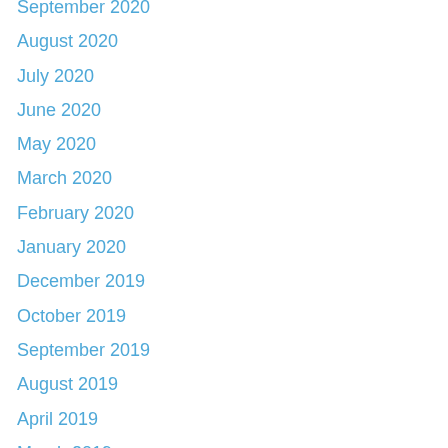September 2020
August 2020
July 2020
June 2020
May 2020
March 2020
February 2020
January 2020
December 2019
October 2019
September 2019
August 2019
April 2019
March 2019
February 2019
January 2019
December 2018
November 2018
October 2018
September 2018